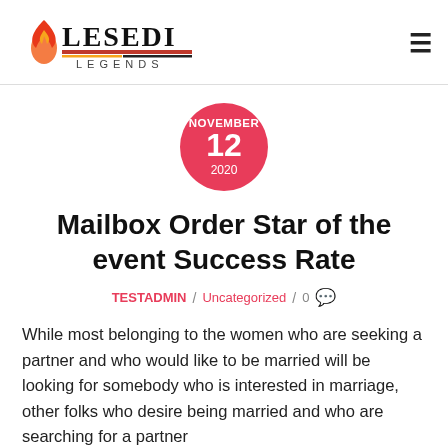[Figure (logo): Lesedi Legends logo with flame icon and text]
NOVEMBER 12 2020
Mailbox Order Star of the event Success Rate
TESTADMIN / Uncategorized / 0
While most belonging to the women who are seeking a partner and who would like to be married will be looking for somebody who is interested in marriage, other folks who desire being married and who are searching for a partner